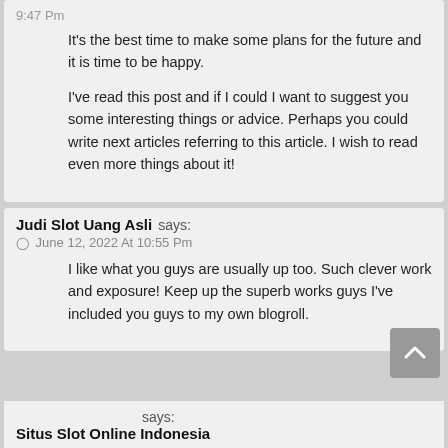9:47 Pm
It’s the best time to make some plans for the future and it is time to be happy.

I’ve read this post and if I could I want to suggest you some interesting things or advice. Perhaps you could write next articles referring to this article. I wish to read even more things about it!
Judi Slot Uang Asli says:
⊞ June 12, 2022 At 10:55 Pm
I like what you guys are usually up too. Such clever work and exposure! Keep up the superb works guys I’ve included you guys to my own blogroll.
Situs Slot Online Indonesia says: